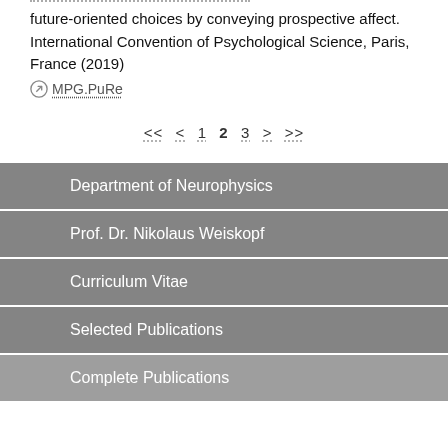future-oriented choices by conveying prospective affect. International Convention of Psychological Science, Paris, France (2019)
MPG.PuRe
<< < 1 2 3 > >>
Department of Neurophysics
Prof. Dr. Nikolaus Weiskopf
Curriculum Vitae
Selected Publications
Complete Publications